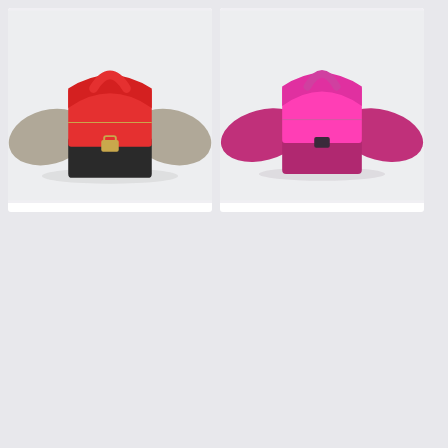[Figure (photo): Red and khaki/black Celine Small Trapeze handbag on light gray background]
Womens Latest Celine Small Trapeze Red Top-handle & Flap Polished Brass Square Lock Ladies Suede Tote Khaki/Black
$322.98
[Figure (photo): Neon pink Celine Small Trapeze handbag on light gray background]
New Arrival Celine Small Trapeze Silver Hardware Zipper Closure Ladies Neon Pink Suede Leather Flap Tote
$322.98